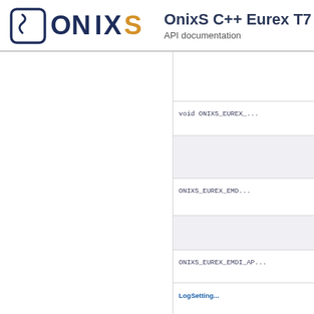OnixS C++ Eurex T7 API documentation
|  | void ONIXS_EUREX_... |
|  |  |
|  | ONIXS_EUREX_EMD... |
|  |  |
|  | ONIXS_EUREX_EMDI_AP... |
|  | LogSetting... |